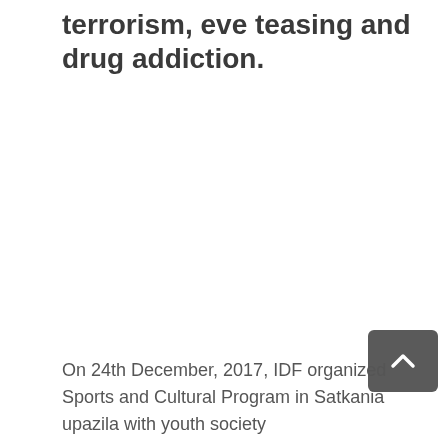terrorism, eve teasing and drug addiction.
On 24th December, 2017, IDF organized Sports and Cultural Program in Satkania upazila with youth society